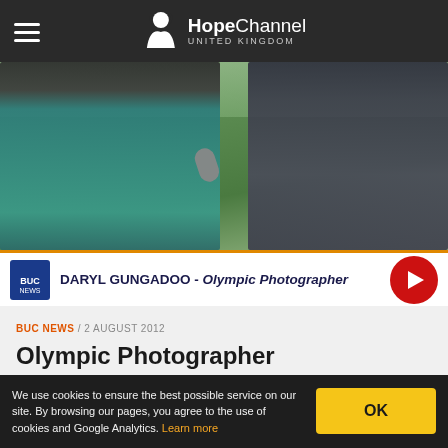HopeChannel UNITED KINGDOM
[Figure (photo): Two men outdoors in a park, one holding a microphone interviewing the other. The interviewee wears a teal shirt; the interviewer wears a dark grey shirt.]
DARYL GUNGADOO - Olympic Photographer
BUC NEWS / 2 AUGUST 2012
Olympic Photographer
What makes an Adventist a good Olympic photographer. Love of God and nature leads to a love of photography for Daryl Gungadoo.
We use cookies to ensure the best possible service on our site. By browsing our pages, you agree to the use of cookies and Google Analytics. Learn more